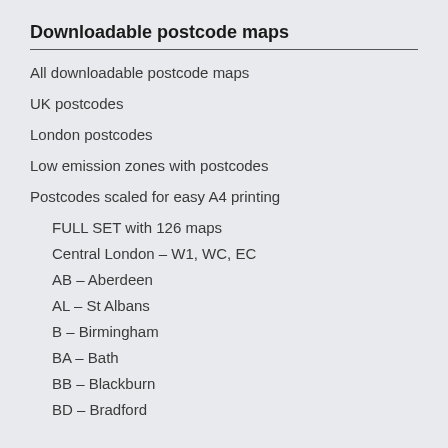Downloadable postcode maps
All downloadable postcode maps
UK postcodes
London postcodes
Low emission zones with postcodes
Postcodes scaled for easy A4 printing
FULL SET with 126 maps
Central London – W1, WC, EC
AB – Aberdeen
AL – St Albans
B – Birmingham
BA – Bath
BB – Blackburn
BD – Bradford